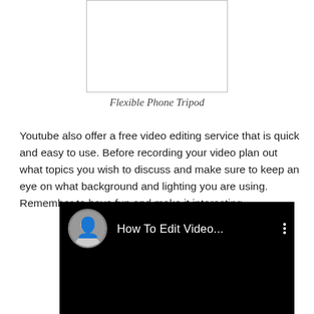[Figure (other): Empty rectangular placeholder for a Flexible Phone Tripod image]
Flexible Phone Tripod
Youtube also offer a free video editing service that is quick and easy to use. Before recording your video plan out what topics you wish to discuss and make sure to keep an eye on what background and lighting you are using. Remember to have fun and make it interesting.
[Figure (screenshot): Screenshot of a YouTube video titled 'How To Edit Video...' showing a dark background with a circular avatar of a person and three vertical dots menu icon]